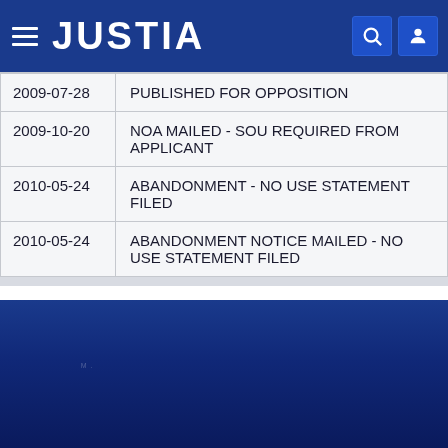JUSTIA
| Date | Event |
| --- | --- |
| 2009-07-28 | PUBLISHED FOR OPPOSITION |
| 2009-10-20 | NOA MAILED - SOU REQUIRED FROM APPLICANT |
| 2010-05-24 | ABANDONMENT - NO USE STATEMENT FILED |
| 2010-05-24 | ABANDONMENT NOTICE MAILED - NO USE STATEMENT FILED |